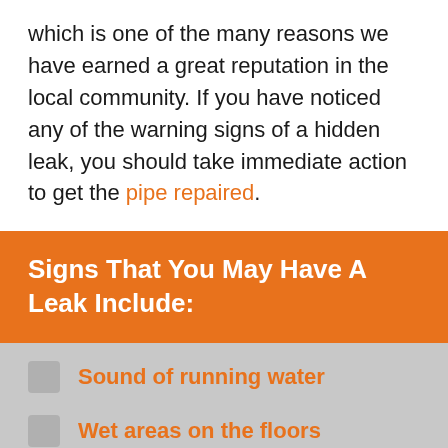which is one of the many reasons we have earned a great reputation in the local community. If you have noticed any of the warning signs of a hidden leak, you should take immediate action to get the pipe repaired.
Signs That You May Have A Leak Include:
Sound of running water
Wet areas on the floors
Warm spots in the concrete